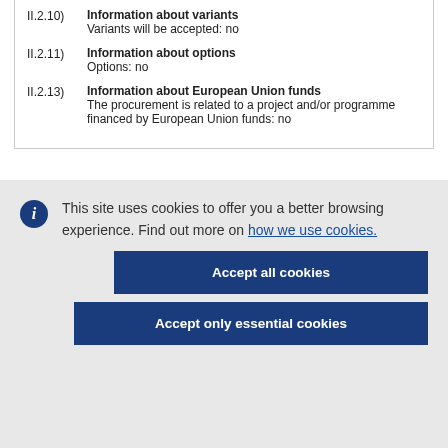II.2.10) Information about variants
Variants will be accepted: no
II.2.11) Information about options
Options: no
II.2.13) Information about European Union funds
The procurement is related to a project and/or programme financed by European Union funds: no
This site uses cookies to offer you a better browsing experience. Find out more on how we use cookies.
Accept all cookies
Accept only essential cookies